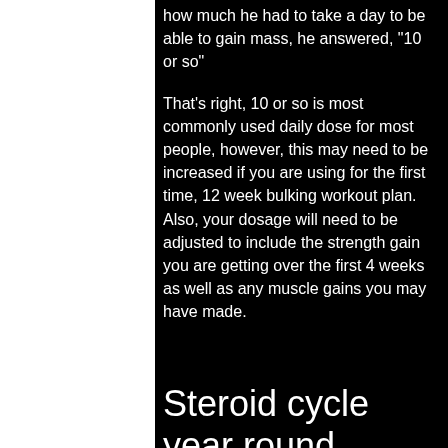how much he had to take a day to be able to gain mass, he answered, "10 or so"
That's right, 10 or so is most commonly used daily dose for most people, however, this may need to be increased if you are using for the first time, 12 week bulking workout plan. Also, your dosage will need to be adjusted to include the strength gain you are getting over the first 4 weeks as well as any muscle gains you may have made.
Steroid cycle year round
Tauro Test is can be used to gain muscle mass rapidly all year round or can be used as part of any post cycle therapy treatment.
It can also help to ensure that your hormone levels are balanced from the time of your last cycle, testosterone cycle for bodybuilding